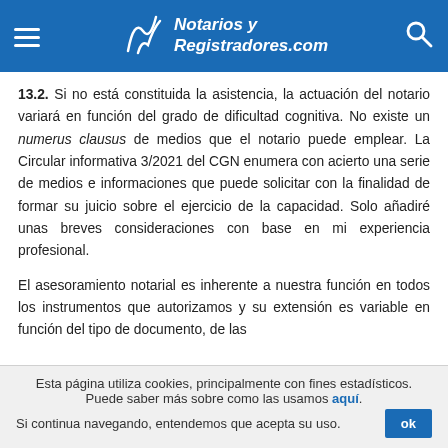Notarios y Registradores.com
13.2. Si no está constituida la asistencia, la actuación del notario variará en función del grado de dificultad cognitiva. No existe un numerus clausus de medios que el notario puede emplear. La Circular informativa 3/2021 del CGN enumera con acierto una serie de medios e informaciones que puede solicitar con la finalidad de formar su juicio sobre el ejercicio de la capacidad. Solo añadiré unas breves consideraciones con base en mi experiencia profesional.
El asesoramiento notarial es inherente a nuestra función en todos los instrumentos que autorizamos y su extensión es variable en función del tipo de documento, de las
Esta página utiliza cookies, principalmente con fines estadísticos. Puede saber más sobre como las usamos aquí. Si continua navegando, entendemos que acepta su uso.